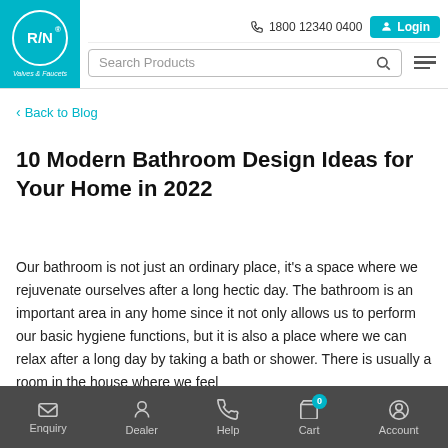[Figure (logo): RN Valves & Faucets logo in teal/cyan circle on blue background]
1800 12340 0400  Login  Search Products
< Back to Blog
10 Modern Bathroom Design Ideas for Your Home in 2022
Our bathroom is not just an ordinary place, it's a space where we rejuvenate ourselves after a long hectic day. The bathroom is an important area in any home since it not only allows us to perform our basic hygiene functions, but it is also a place where we can relax after a long day by taking a bath or shower. There is usually a room in the house where we feel
Enquiry  Dealer  Help  Cart 0  Account